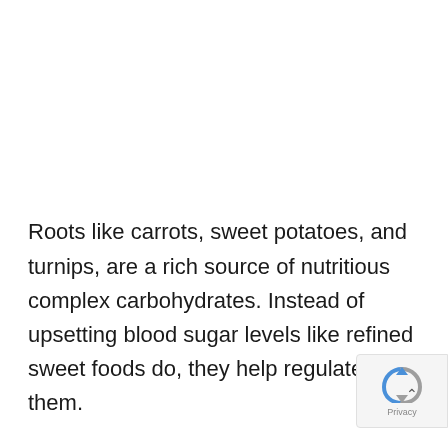Roots like carrots, sweet potatoes, and turnips, are a rich source of nutritious complex carbohydrates. Instead of upsetting blood sugar levels like refined sweet foods do, they help regulate them.